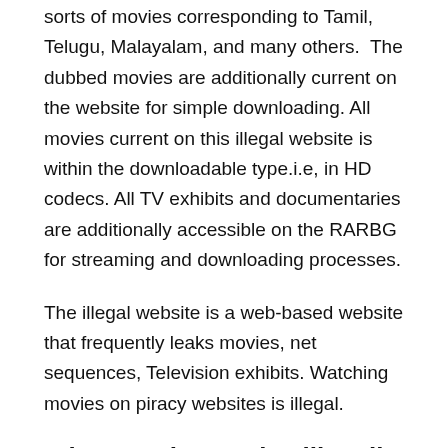sorts of movies corresponding to Tamil, Telugu, Malayalam, and many others.  The dubbed movies are additionally current on the website for simple downloading. All movies current on this illegal website is within the downloadable type.i.e, in HD codecs. All TV exhibits and documentaries are additionally accessible on the RARBG for streaming and downloading processes.
The illegal website is a web-based website that frequently leaks movies, net sequences, Television exhibits. Watching movies on piracy websites is illegal.
What are the Movies illegally